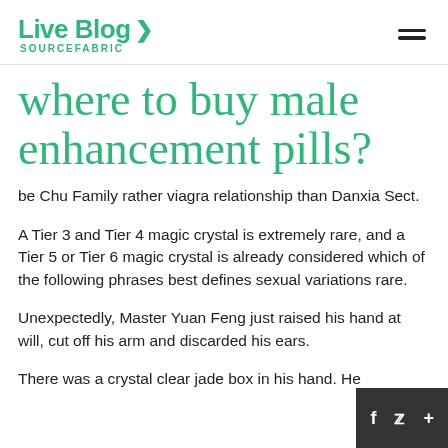Live Blog SOURCEFABRIC
where to buy male enhancement pills?
be Chu Family rather viagra relationship than Danxia Sect.
A Tier 3 and Tier 4 magic crystal is extremely rare, and a Tier 5 or Tier 6 magic crystal is already considered which of the following phrases best defines sexual variations rare.
Unexpectedly, Master Yuan Feng just raised his hand at will, cut off his arm and discarded his ears.
There was a crystal clear jade box in his hand. He